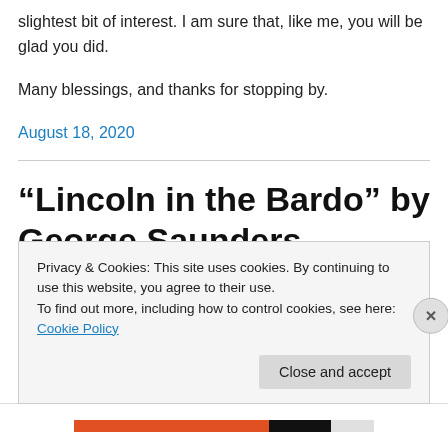slightest bit of interest. I am sure that, like me, you will be glad you did.
Many blessings, and thanks for stopping by.
August 18, 2020
“Lincoln in the Bardo” by George Saunders
Privacy & Cookies: This site uses cookies. By continuing to use this website, you agree to their use.
To find out more, including how to control cookies, see here: Cookie Policy
Close and accept